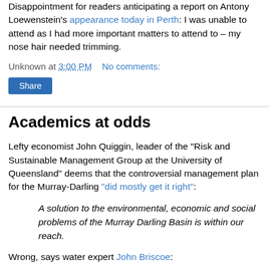Disappointment for readers anticipating a report on Antony Loewenstein's appearance today in Perth: I was unable to attend as I had more important matters to attend to – my nose hair needed trimming.
Unknown at 3:00 PM    No comments:
Share
Academics at odds
Lefty economist John Quiggin, leader of the "Risk and Sustainable Management Group at the University of Queensland" deems that the controversial management plan for the Murray-Darling "did mostly get it right":
A solution to the environmental, economic and social problems of the Murray Darling Basin is within our reach.
Wrong, says water expert John Briscoe: